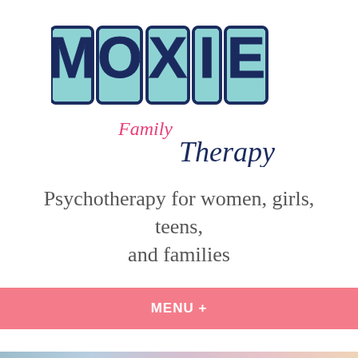[Figure (logo): Moxie Family Therapy logo — large teal block letters spelling MOXIE with dark navy outlines, pink cursive text reading 'Family' and dark navy script text reading 'Therapy']
Psychotherapy for women, girls, teens, and families
MENU +
FAQs and Contact